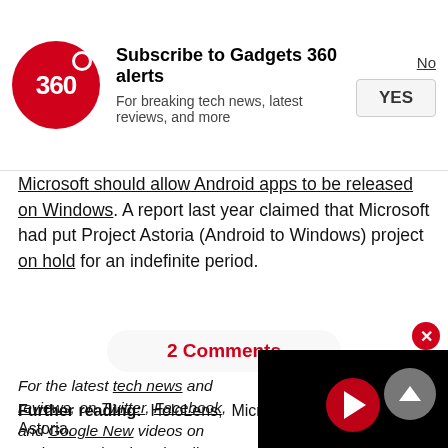Subscribe to Gadgets 360 alerts
For breaking tech news, latest reviews, and more
Microsoft should allow Android apps to be released on Windows. A report last year claimed that Microsoft had put Project Astoria (Android to Windows) project on hold for an indefinite period.
2 Comments
For the latest tech news and reviews, on Twitter, Facebook, and Google News. videos on gadgets and tech, subscribe channel.
Further reading: HoloLens, Microsoft, Mobiles, Project Astoria,